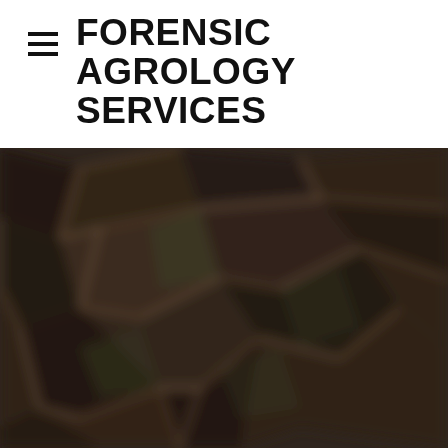FORENSIC AGROLOGY SERVICES
[Figure (photo): Blurred close-up photograph of cracked dry soil or ground material with a dark brown and muted green tone, showing a network of cracks and organic matter.]